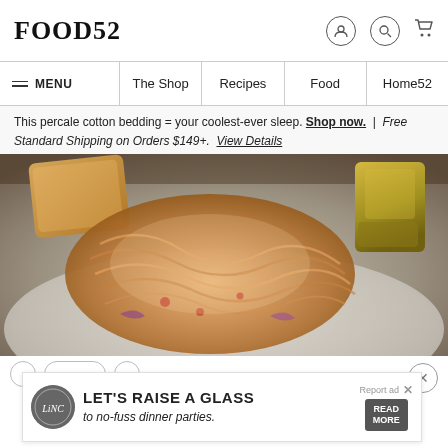FOOD52
≡ MENU | The Shop | Recipes | Food | Home52
This percale cotton bedding = your coolest-ever sleep. Shop now. | Free Standard Shipping on Orders $149+. View Details
[Figure (photo): A plate of creamy pasta (likely spaghetti in a rosé or cream sauce) with reddish accents, flanked by a piece of toasted bread on the left and roasted potato wedges on the right, served on a white plate.]
Report ad
[Figure (infographic): Advertisement banner: LET'S RAISE A GLASS to no-fuss dinner parties. Features a logo on the left and a Read More button on the right.]